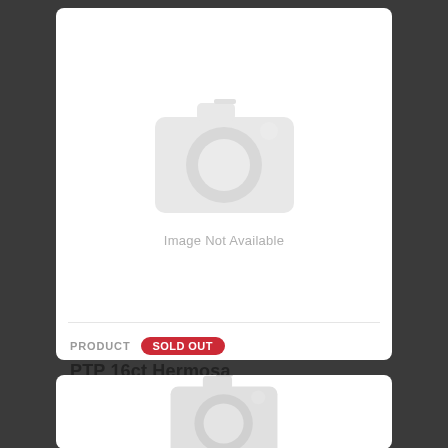[Figure (illustration): Camera placeholder icon with 'Image Not Available' text below it, inside a white card]
PRODUCT
SOLD OUT
PTP 16ct Hermosa
[Figure (illustration): Partial camera placeholder icon inside a second white card at the bottom of the page]